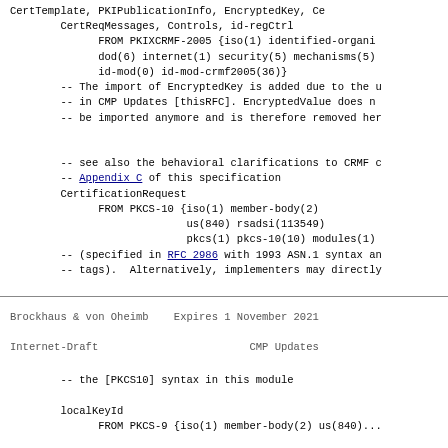CertTemplate, PKIPublicationInfo, EncryptedKey, Ce
        CertReqMessages, Controls, id-regCtrl
              FROM PKIXCRMF-2005 {iso(1) identified-organi
              dod(6) internet(1) security(5) mechanisms(5)
              id-mod(0) id-mod-crmf2005(36)}
        -- The import of EncryptedKey is added due to the u
        -- in CMP Updates [thisRFC]. EncryptedValue does n
        -- be imported anymore and is therefore removed her


        -- see also the behavioral clarifications to CRMF c
        -- Appendix C of this specification
        CertificationRequest
              FROM PKCS-10 {iso(1) member-body(2)
                            us(840) rsadsi(113549)
                            pkcs(1) pkcs-10(10) modules(1)
        -- (specified in RFC 2986 with 1993 ASN.1 syntax an
        -- tags).  Alternatively, implementers may directly
Brockhaus & von Oheimb    Expires 1 November 2021
Internet-Draft                        CMP Updates
-- the [PKCS10] syntax in this module

        localKeyId
              FROM PKCS-9 {iso(1) member-body(2) us(840)...